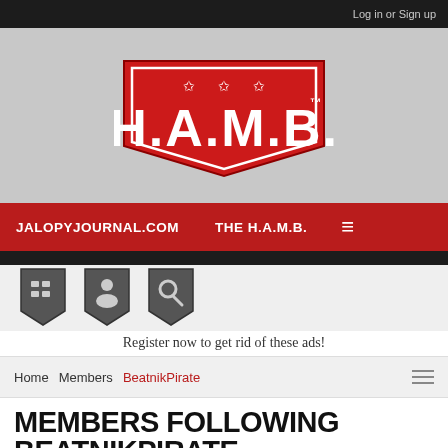Log in or Sign up
[Figure (logo): H.A.M.B. logo — red shield-shaped badge with three stars and bold white text reading H.A.M.B. with TM mark]
JALOPYJOURNAL.COM   THE H.A.M.B.   ≡
[Figure (infographic): Three dark badge icons with symbols: forum grid, people group, and magnifying glass search]
Register now to get rid of these ads!
Home   Members   BeatnikPirate
MEMBERS FOLLOWING BEATNIKPIRATE